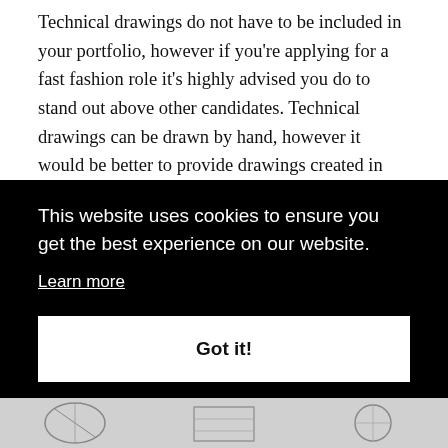Technical drawings do not have to be included in your portfolio, however if you're applying for a fast fashion role it's highly advised you do to stand out above other candidates. Technical drawings can be drawn by hand, however it would be better to provide drawings created in Illustrator or InDesign. This is because fast fashion businesses require designers to provide extremely accurate designs to suppliers so they can prepare prototype samples. There's no point …best …t
This website uses cookies to ensure you get the best experience on our website. Learn more
Got it!
[Figure (illustration): Partial view of fashion technical drawings/illustrations at the bottom of the page]